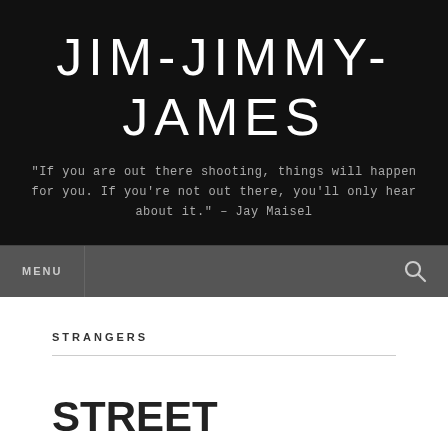JIM-JIMMY-JAMES
"If you are out there shooting, things will happen for you. If you're not out there, you'll only hear about it." – Jay Maisel
MENU
STRANGERS
STREET PHOTOGRAPHY
Follow ...